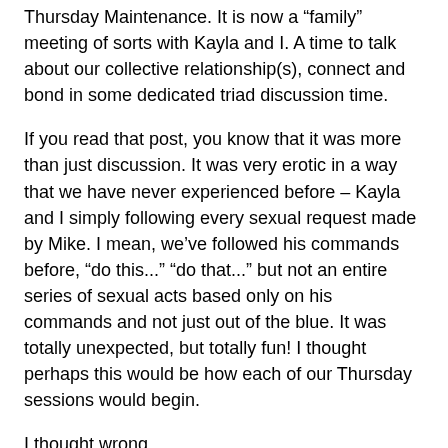Thursday Maintenance.  It is now a “family” meeting of sorts with Kayla and I.  A time to talk about our collective relationship(s), connect and bond in some dedicated triad discussion time.
If you read that post, you know that it was more than just discussion.  It was very erotic in a way that we have never experienced before – Kayla and I simply following every sexual request made by Mike.  I mean, we’ve followed his commands before, “do this...” “do that...”  but not an entire series of sexual acts based only on his commands and not just out of the blue.  It was totally unexpected, but totally fun!  I thought perhaps this would be how each of our Thursday sessions would begin.
I thought wrong.
OUR SECOND NEW THURSDAY MAINTENANCE SESSION
Kayla and I undressed and Mike remained clothed, as is customary for a Maintenance.  Like last time, Mike had two